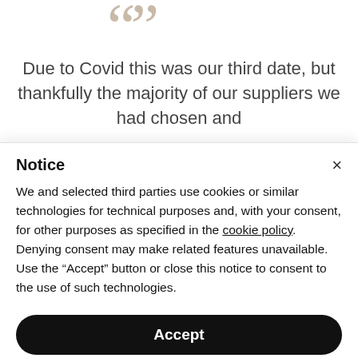[Figure (illustration): Decorative quotation mark icons in beige/tan color at the top of the page]
Due to Covid this was our third date, but thankfully the majority of our suppliers we had chosen and
Notice
We and selected third parties use cookies or similar technologies for technical purposes and, with your consent, for other purposes as specified in the cookie policy. Denying consent may make related features unavailable.
Use the “Accept” button or close this notice to consent to the use of such technologies.
Accept
Learn more and customize